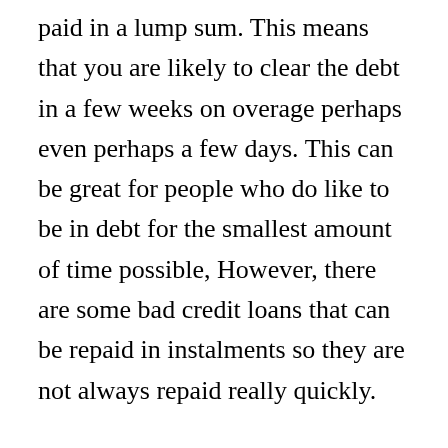paid in a lump sum. This means that you are likely to clear the debt in a few weeks on overage perhaps even perhaps a few days. This can be great for people who do like to be in debt for the smallest amount of time possible, However, there are some bad credit loans that can be repaid in instalments so they are not always repaid really quickly.
So, as you can see, you might think that the loans are specific types of people but actually